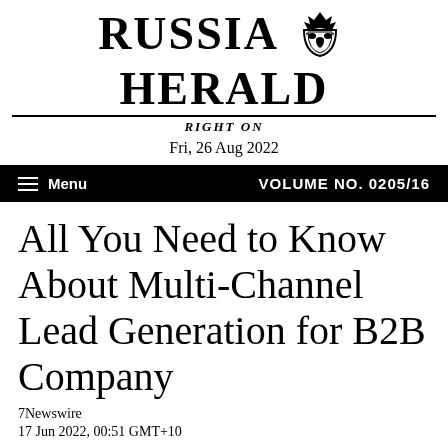RUSSIA HERALD — RIGHT ON
Fri, 26 Aug 2022
Menu   VOLUME NO. 0205/16
All You Need to Know About Multi-Channel Lead Generation for B2B Company
7Newswire
17 Jun 2022, 00:51 GMT+10